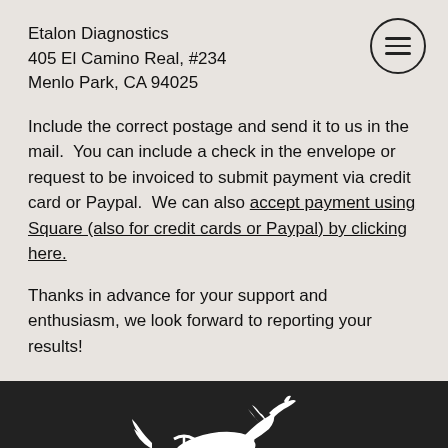Etalon Diagnostics
405 El Camino Real, #234
Menlo Park, CA 94025
Include the correct postage and send it to us in the mail.  You can include a check in the envelope or request to be invoiced to submit payment via credit card or Paypal.  We can also accept payment using Square (also for credit cards or Paypal) by clicking here.
Thanks in advance for your support and enthusiasm, we look forward to reporting your results!
[Figure (logo): Etalon Diagnostics logo: white silhouette of a running horse with a DNA double helix strand across its body, on dark background]
CONTACT